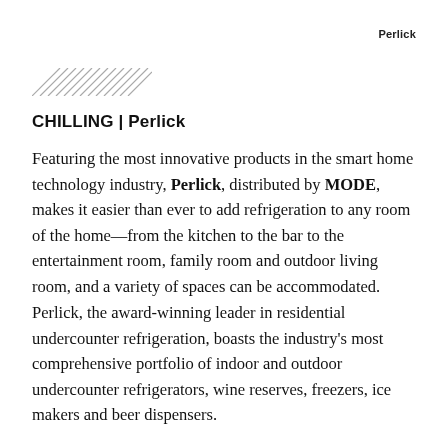Perlick
[Figure (illustration): Decorative diagonal parallel lines resembling a hatching pattern]
CHILLING | Perlick
Featuring the most innovative products in the smart home technology industry, Perlick, distributed by MODE, makes it easier than ever to add refrigeration to any room of the home—from the kitchen to the bar to the entertainment room, family room and outdoor living room, and a variety of spaces can be accommodated.
Perlick, the award-winning leader in residential undercounter refrigeration, boasts the industry's most comprehensive portfolio of indoor and outdoor undercounter refrigerators, wine reserves, freezers, ice makers and beer dispensers.